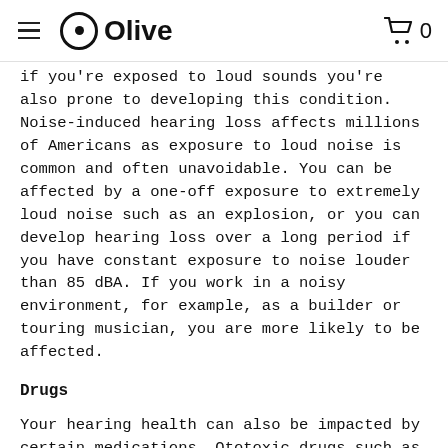Olive
if you're exposed to loud sounds you're also prone to developing this condition. Noise-induced hearing loss affects millions of Americans as exposure to loud noise is common and often unavoidable. You can be affected by a one-off exposure to extremely loud noise such as an explosion, or you can develop hearing loss over a long period if you have constant exposure to noise louder than 85 dBA. If you work in a noisy environment, for example, as a builder or touring musician, you are more likely to be affected.
Drugs
Your hearing health can also be impacted by certain medications. Ototoxic drugs such as aminoglycoside antibiotics, salicylates such as aspirin